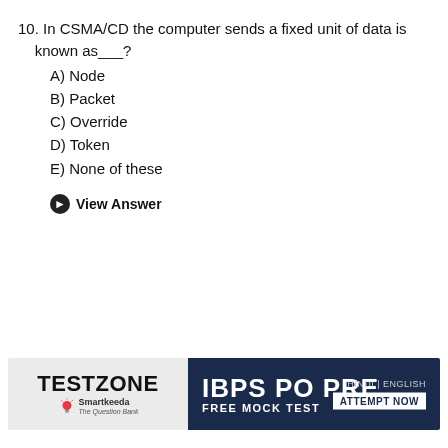10. In CSMA/CD the computer sends a fixed unit of data is known as___?
A) Node
B) Packet
C) Override
D) Token
E) None of these
View Answer
[Figure (infographic): Testzone by Smartkeeda banner ad for IBPS PO PRE Free Mock Test with Hindi/English language options and Attempt Now button]